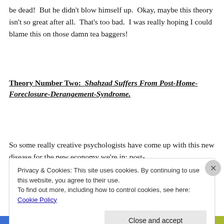be dead!  But he didn't blow himself up.  Okay, maybe this theory isn't so great after all.  That's too bad.  I was really hoping I could blame this on those damn tea baggers!
Theory Number Two:  Shahzad Suffers From Post-Home-Foreclosure-Derangement-Syndrome.
So some really creative psychologists have come up with this new disease for the new economy we're in: post-
Privacy & Cookies: This site uses cookies. By continuing to use this website, you agree to their use.
To find out more, including how to control cookies, see here: Cookie Policy
Close and accept